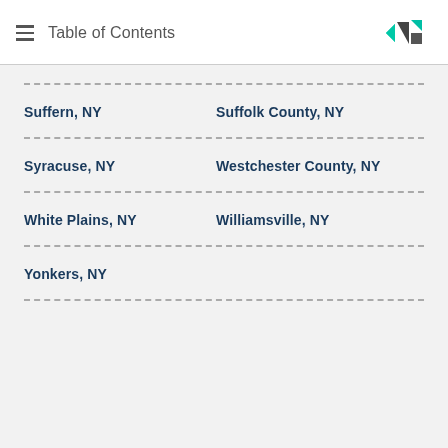Table of Contents
Suffern, NY | Suffolk County, NY
Syracuse, NY | Westchester County, NY
White Plains, NY | Williamsville, NY
Yonkers, NY